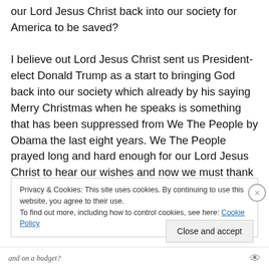our Lord Jesus Christ back into our society for America to be saved?

I believe out Lord Jesus Christ sent us President-elect Donald Trump as a start to bringing God back into our society which already by his saying Merry Christmas when he speaks is something that has been suppressed from We The People by Obama the last eight years. We The People prayed long and hard enough for our Lord Jesus Christ to hear our wishes and now we must thank our Lord Jesus Christ for listening to our prayers. God has blessed
Privacy & Cookies: This site uses cookies. By continuing to use this website, you agree to their use.
To find out more, including how to control cookies, see here: Cookie Policy
Close and accept
and on a budget?